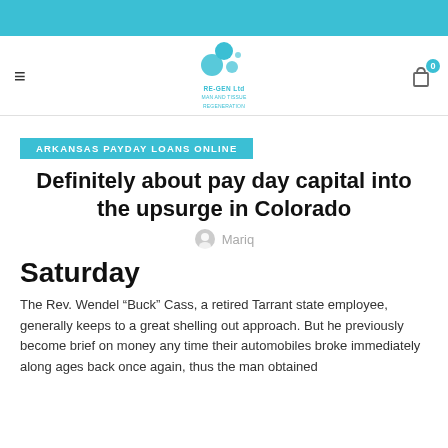[Figure (logo): RE-GEN Ltd logo with teal circular bubbles and company name]
ARKANSAS PAYDAY LOANS ONLINE
Definitely about pay day capital into the upsurge in Colorado
Mariq
Saturday
The Rev. Wendel “Buck” Cass, a retired Tarrant state employee, generally keeps to a great shelling out approach. But he previously become brief on money any time their automobiles broke immediately along ages back once again, thus the man obtained